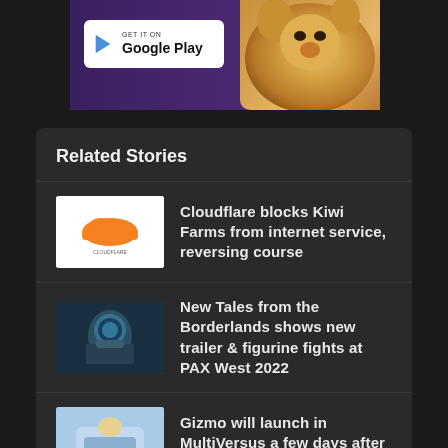[Figure (photo): Google Play store advertisement banner with a Pomeranian dog and a Get it on Google Play button]
Related Stories
[Figure (illustration): Cloudflare logo thumbnail - white background with orange Cloudflare cloud logo]
Cloudflare blocks Kiwi Farms from internet service, reversing course
[Figure (photo): Borderlands video game screenshot thumbnail - dark sci-fi character]
New Tales from the Borderlands shows new trailer & figurine fights at PAX West 2022
[Figure (photo): Gizmo MultiVersus game thumbnail - light blue background with character]
Gizmo will launch in MultiVersus a few days after next week's reveal
[Figure (photo): Sakurai YouTube channel thumbnail - man in front of snowy background]
Sakurai's game dev YouTube channels have surpassed 750,000 subscribers